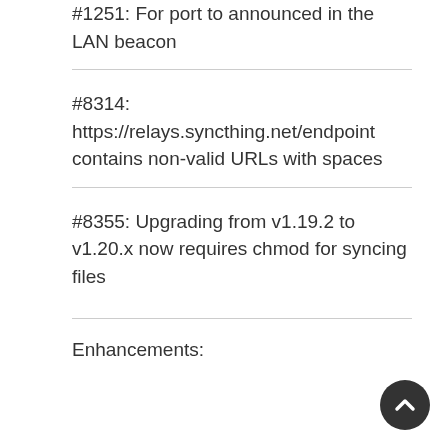#1251: For port to announced in the LAN beacon
#8314: https://relays.syncthing.net/endpoint contains non-valid URLs with spaces
#8355: Upgrading from v1.19.2 to v1.20.x now requires chmod for syncing files
Enhancements: